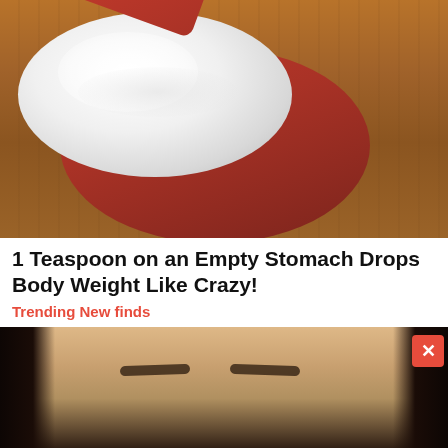[Figure (photo): A red measuring spoon heaped with white powder (baking soda or similar) resting on a wooden surface]
1 Teaspoon on an Empty Stomach Drops Body Weight Like Crazy!
Trending New finds
[Figure (photo): A woman with dark hair, close-up face photo, partially cropped]
Acuerdo de la demanda colectiva por $82 Millones SI USTED COMPRO O ARRENDO UN AUTOMÓVIL O CAMIÓN NUEVO EN CALIFORNIA DESDE 2001 A 2003 PRESENTE SU RECLAMO AHORA